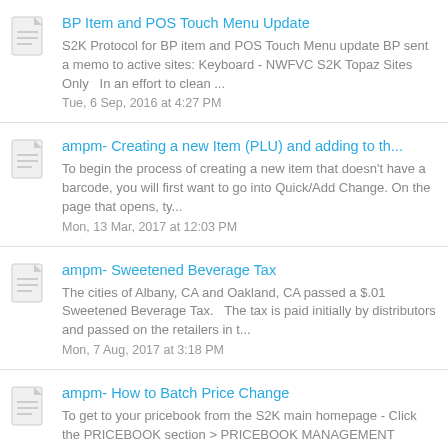BP Item and POS Touch Menu Update
S2K Protocol for BP item and POS Touch Menu update BP sent a memo to active sites: Keyboard - NWFVC S2K Topaz Sites Only   In an effort to clean ...
Tue, 6 Sep, 2016 at 4:27 PM
ampm- Creating a new Item (PLU) and adding to th...
To begin the process of creating a new item that doesn't have a barcode, you will first want to go into Quick/Add Change. On the page that opens, ty...
Mon, 13 Mar, 2017 at 12:03 PM
ampm- Sweetened Beverage Tax
The cities of Albany, CA and Oakland, CA passed a $.01 Sweetened Beverage Tax.   The tax is paid initially by distributors and passed on the retailers in t...
Mon, 7 Aug, 2017 at 3:18 PM
ampm- How to Batch Price Change
To get to your pricebook from the S2K main homepage - Click the PRICEBOOK section > PRICEBOOK MANAGEMENT bubble > Click the MANAGE PRICEBOOK link...